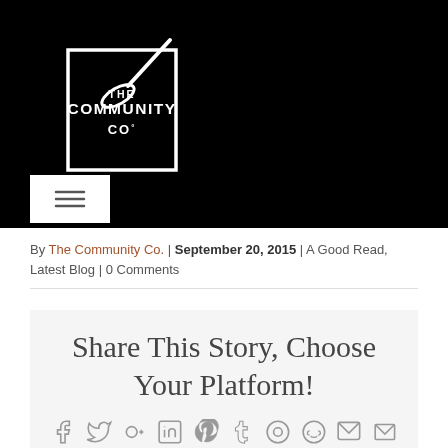[Figure (logo): The Community Co. logo — white mortar and pestle with text inside a square outline on black background]
[Figure (other): Hamburger menu button (three horizontal lines) on white background over black header]
By The Community Co. | September 20, 2015 | A Good Read, Latest Blog | 0 Comments
Share This Story, Choose Your Platform!
[Figure (other): Row of social media sharing icons: Facebook, Twitter, Google+, LinkedIn, Pinterest, Tumblr, Pinterest, Reddit, Google+, Email]